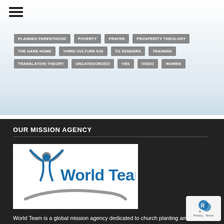PLANNED PARENTHOOD
POVERTY
PRAYER
PROSPERITY THEOLOGY
THE HARE HOME
THIRD CULTURE KID
TO SENDERS
TRAINING
TRANSLATION THEORY
UNCATEGORIZED
VBS
VIDEO
WOMEN
OUR MISSION AGENCY
[Figure (logo): World Team logo — stylized figure with arms raised in blue and grey, with blue text 'World Team' and grey swoosh arc beneath]
World Team is a global mission agency dedicated to church planting among unreached people groups.